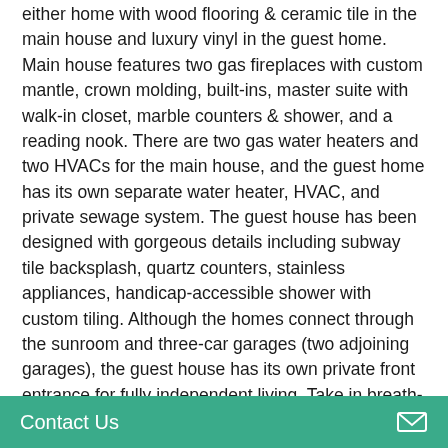either home with wood flooring & ceramic tile in the main house and luxury vinyl in the guest home. Main house features two gas fireplaces with custom mantle, crown molding, built-ins, master suite with walk-in closet, marble counters & shower, and a reading nook. There are two gas water heaters and two HVACs for the main house, and the guest home has its own separate water heater, HVAC, and private sewage system. The guest house has been designed with gorgeous details including subway tile backsplash, quartz counters, stainless appliances, handicap-accessible shower with custom tiling. Although the homes connect through the sunroom and three-car garages (two adjoining garages), the guest house has its own private front entrance for fully independent living. Take in breath-taking views of the property or entertain from both private back patios and the gazebo. With quick access to major
Contact Us